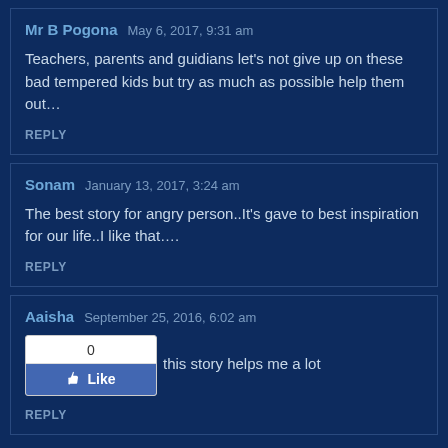Mr B Pogona   May 6, 2017, 9:31 am
Teachers, parents and guidians let's not give up on these bad tempered kids but try as much as possible help them out…
REPLY
Sonam   January 13, 2017, 3:24 am
The best story for angry person..It's gave to best inspiration for our life..I like that….
REPLY
Aaisha   September 25, 2016, 6:02 am
...this story helps me a lot
REPLY